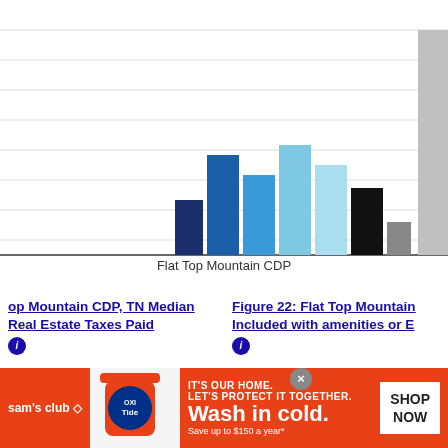[Figure (bar-chart): Flat Top Mountain CDP]
Flat Top Mountain CDP
op Mountain CDP, TN Median Real Estate Taxes Paid
Figure 22: Flat Top Mountain Included with amenities or E